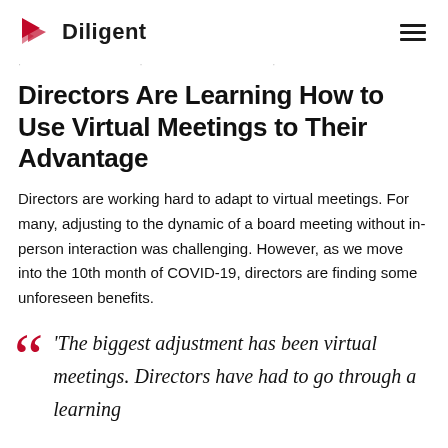Diligent
. . .
Directors Are Learning How to Use Virtual Meetings to Their Advantage
Directors are working hard to adapt to virtual meetings. For many, adjusting to the dynamic of a board meeting without in-person interaction was challenging. However, as we move into the 10th month of COVID-19, directors are finding some unforeseen benefits.
'The biggest adjustment has been virtual meetings. Directors have had to go through a learning